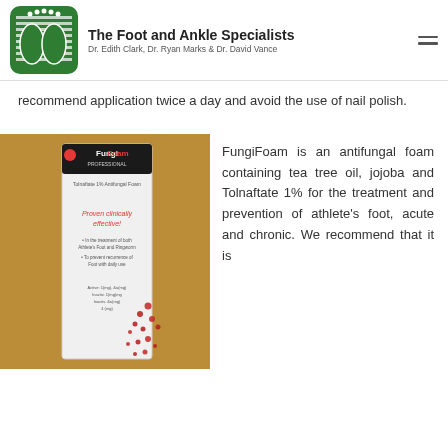The Foot and Ankle Specialists — Dr. Edith Clark, Dr. Ryan Marks & Dr. David Vance
recommend application twice a day and avoid the use of nail polish.
[Figure (photo): Photo of a FungiFoam antifungal foam product box against a brown/tan background.]
FungiFoam is an antifungal foam containing tea tree oil, jojoba and Tolnaftate 1% for the treatment and prevention of athlete's foot, acute and chronic. We recommend that it is